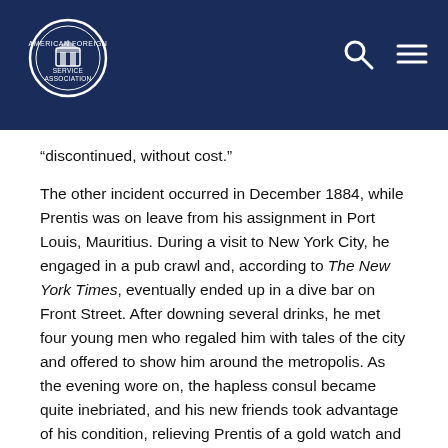American Foreign Service Association header with logo, search and menu icons
“discontinued, without cost.”

The other incident occurred in December 1884, while Prentis was on leave from his assignment in Port Louis, Mauritius. During a visit to New York City, he engaged in a pub crawl and, according to The New York Times, eventually ended up in a dive bar on Front Street. After downing several drinks, he met four young men who regaled him with tales of the city and offered to show him around the metropolis. As the evening wore on, the hapless consul became quite inebriated, and his new friends took advantage of his condition, relieving Prentis of a gold watch and chain, $67 in cash and a solitaire pin. There is no honor among thieves, however, and a quarrel ensued over the plunder, resulting in the death by stabbing of one of them. Some of the stolen property was later found